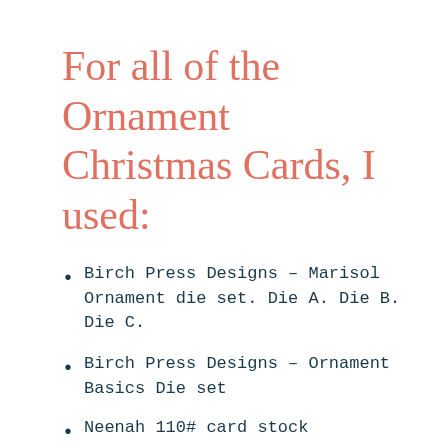For all of the Ornament Christmas Cards, I used:
Birch Press Designs – Marisol Ornament die set. Die A. Die B. Die C.
Birch Press Designs – Ornament Basics Die set
Neenah 110# card stock